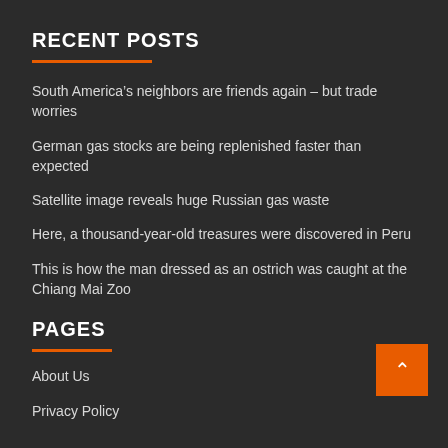RECENT POSTS
South America’s neighbors are friends again – but trade worries
German gas stocks are being replenished faster than expected
Satellite image reveals huge Russian gas waste
Here, a thousand-year-old treasures were discovered in Peru
This is how the man dressed as an ostrich was caught at the Chiang Mai Zoo
PAGES
About Us
Privacy Policy